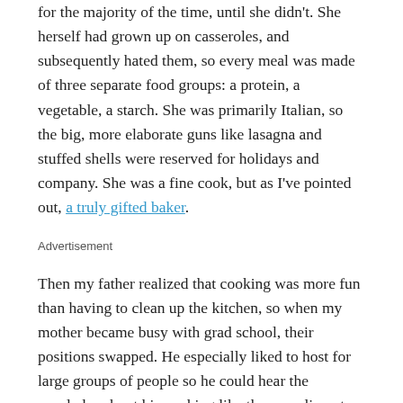for the majority of the time, until she didn't. She herself had grown up on casseroles, and subsequently hated them, so every meal was made of three separate food groups: a protein, a vegetable, a starch. She was primarily Italian, so the big, more elaborate guns like lasagna and stuffed shells were reserved for holidays and company. She was a fine cook, but as I've pointed out, a truly gifted baker.
Advertisement
Then my father realized that cooking was more fun than having to clean up the kitchen, so when my mother became busy with grad school, their positions swapped. He especially liked to host for large groups of people so he could hear the accolades about his cooking like the compliments and...